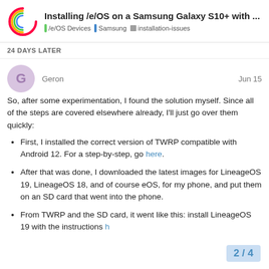Installing /e/OS on a Samsung Galaxy S10+ with ... | /e/OS Devices | Samsung | installation-issues
24 DAYS LATER
Geron  Jun 15
So, after some experimentation, I found the solution myself. Since all of the steps are covered elsewhere already, I'll just go over them quickly:
First, I installed the correct version of TWRP compatible with Android 12. For a step-by-step, go here.
After that was done, I downloaded the latest images for LineageOS 19, LineageOS 18, and of course eOS, for my phone, and put them on an SD card that went into the phone.
From TWRP and the SD card, it went like this: install LineageOS 19 with the instructions h
2 / 4